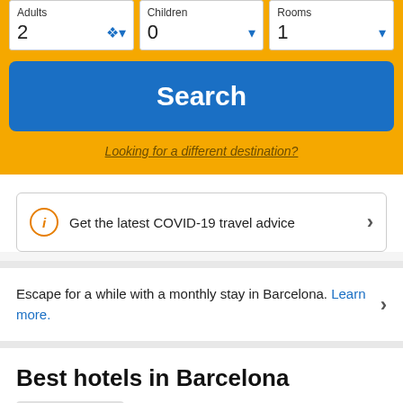[Figure (screenshot): Dropdown selectors for Adults (2), Children (0), and Rooms (1) on a yellow background]
[Figure (screenshot): Blue Search button on yellow background]
Looking for a different destination?
Get the latest COVID-19 travel advice
Escape for a while with a monthly stay in Barcelona. Learn more.
Best hotels in Barcelona
Eurostars Grand Marina Hotel Gl...